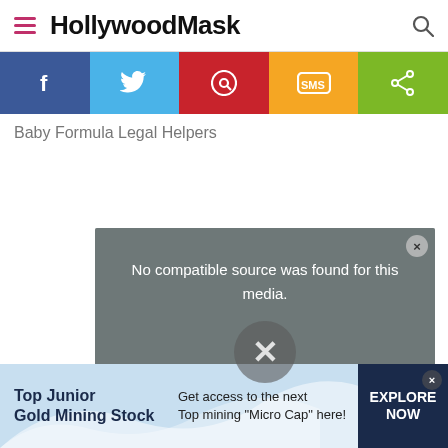HollywoodMask
[Figure (screenshot): Social sharing bar with Facebook, Twitter, Pinterest, SMS, and Share buttons]
Baby Formula Legal Helpers
[Figure (screenshot): Video player showing error: No compatible source was found for this media.]
[Figure (infographic): Advertisement banner: Top Junior Gold Mining Stock - Get access to the next Top mining Micro Cap here! EXPLORE NOW]